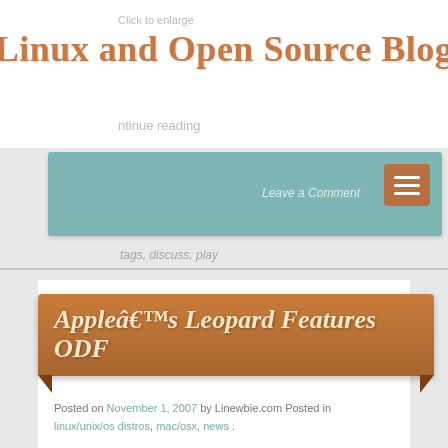Linux and Open Source Blog
[Figure (screenshot): Teal navigation bar with Leave a Comment text and hamburger menu button]
Appleâ€™s Leopard Features ODF
Posted on November 1, 2007 by Linewbie.com Posted in linux/unix/os distros, mac/osx, news .
Appleâ€™s latest incarnation of OS X â€œLeopardâ€ will be able to read OASISâ€™s ODF.